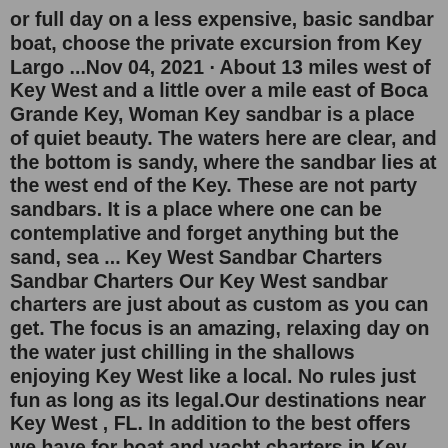or full day on a less expensive, basic sandbar boat, choose the private excursion from Key Largo ...Nov 04, 2021 · About 13 miles west of Key West and a little over a mile east of Boca Grande Key, Woman Key sandbar is a place of quiet beauty. The waters here are clear, and the bottom is sandy, where the sandbar lies at the west end of the Key. These are not party sandbars. It is a place where one can be contemplative and forget anything but the sand, sea ... Key West Sandbar Charters Sandbar Charters Our Key West sandbar charters are just about as custom as you can get. The focus is an amazing, relaxing day on the water just chilling in the shallows enjoying Key West like a local. No rules just fun as long as its legal.Our destinations near Key West , FL. In addition to the best offers we have for boat and yacht charters in Key West , FL, see also options available for rent in these nearby locations: 7 boat rentals in Key West , FL. 1 boat rental in Marathon, FL. 1 - 9 of 9 boats.Welcome to Walsh Charters - one of the very few female founded and operated charter...